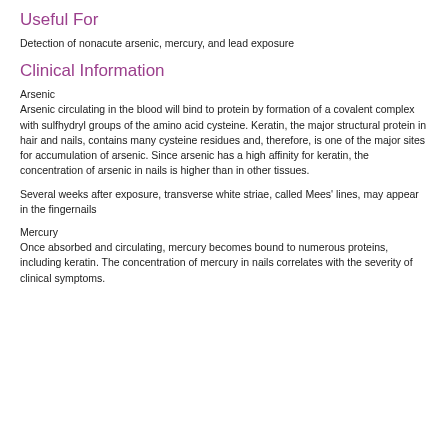Useful For
Detection of nonacute arsenic, mercury, and lead exposure
Clinical Information
Arsenic
Arsenic circulating in the blood will bind to protein by formation of a covalent complex with sulfhydryl groups of the amino acid cysteine. Keratin, the major structural protein in hair and nails, contains many cysteine residues and, therefore, is one of the major sites for accumulation of arsenic. Since arsenic has a high affinity for keratin, the concentration of arsenic in nails is higher than in other tissues.
Several weeks after exposure, transverse white striae, called Mees' lines, may appear in the fingernails
Mercury
Once absorbed and circulating, mercury becomes bound to numerous proteins, including keratin. The concentration of mercury in nails correlates with the severity of clinical symptoms.